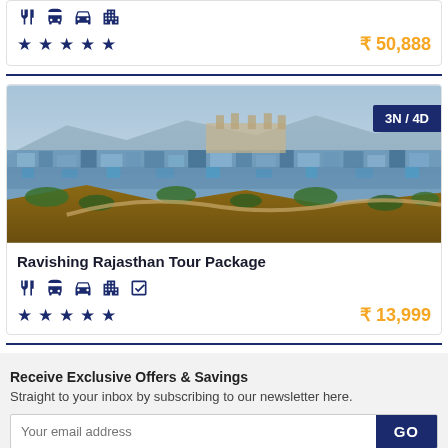[Figure (infographic): Icons row: cutlery, bus, car, building for first card (partial top)]
★ ★ ★ ★ ★   ₹ 50,888
[Figure (photo): Aerial view of Jodhpur city (Blue City), Rajasthan, India with 3N/4D badge]
Ravishing Rajasthan Tour Package
[Figure (infographic): Icons row: cutlery, bus, car, building, checkbox for second card]
★ ★ ★ ★ ★   ₹ 13,999
Receive Exclusive Offers & Savings
Straight to your inbox by subscribing to our newsletter here.
Your email address